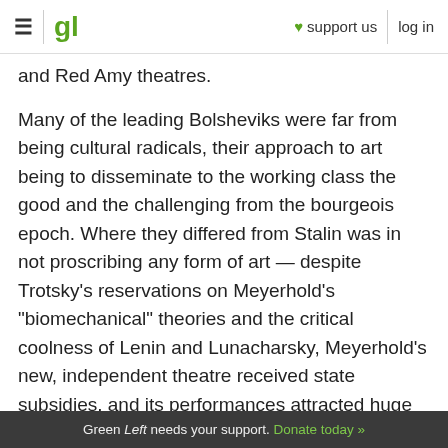gl | support us | log in
and Red Amy theatres.
Many of the leading Bolsheviks were far from being cultural radicals, their approach to art being to disseminate to the working class the good and the challenging from the bourgeois epoch. Where they differed from Stalin was in not proscribing any form of art — despite Trotsky's reservations on Meyerhold's "biomechanical" theories and the critical coolness of Lenin and Lunacharsky, Meyerhold's new, independent theatre received state subsidies, and its performances attracted huge crowds. Mystery-Bouffe ran to 154 performances to 120,000 workers.
Green Left needs your support. Donate today »